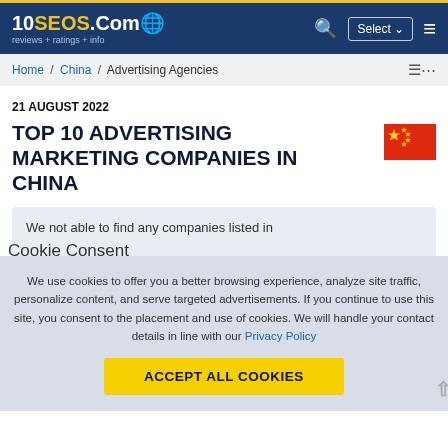10SEOS.Com reviews + ratings + info — navigation header with search, Select dropdown, and hamburger menu
Home / China / Advertising Agencies
21 AUGUST 2022
TOP 10 ADVERTISING MARKETING COMPANIES IN CHINA
We not able to find any companies listed in
Cookie Consent
We use cookies to offer you a better browsing experience, analyze site traffic, personalize content, and serve targeted advertisements. If you continue to use this site, you consent to the placement and use of cookies. We will handle your contact details in line with our Privacy Policy
ACCEPT ALL COOKIES